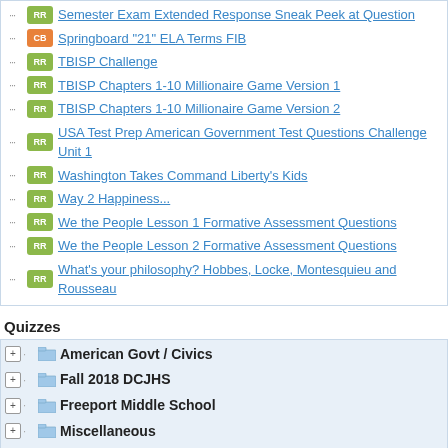Semester Exam Extended Response Sneak Peek at Question
Springboard "21" ELA Terms FIB
TBISP Challenge
TBISP Chapters 1-10 Millionaire Game Version 1
TBISP Chapters 1-10 Millionaire Game Version 2
USA Test Prep American Government Test Questions Challenge Unit 1
Washington Takes Command Liberty's Kids
Way 2 Happiness...
We the People Lesson 1 Formative Assessment Questions
We the People Lesson 2 Formative Assessment Questions
What's your philosophy? Hobbes, Locke, Montesquieu and Rousseau
Quizzes
American Govt / Civics
Fall 2018 DCJHS
Freeport Middle School
Miscellaneous
US Geography
World History
Bill of Rights
Bill of Rights Constitution POP Quiz April 15-16th, 2019